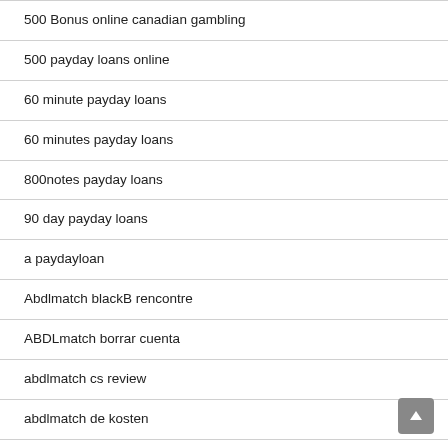500 Bonus online canadian gambling
500 payday loans online
60 minute payday loans
60 minutes payday loans
800notes payday loans
90 day payday loans
a paydayloan
Abdlmatch blackB rencontre
ABDLmatch borrar cuenta
abdlmatch cs review
abdlmatch de kosten
abdlmatch de review